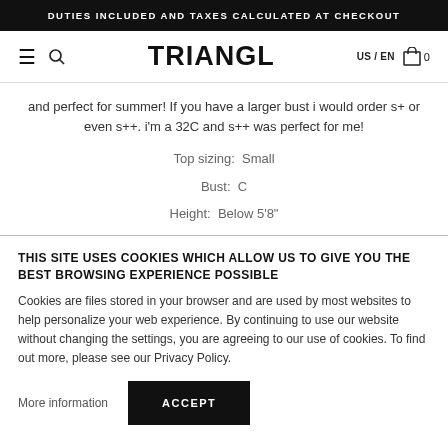DUTIES INCLUDED AND TAXES CALCULATED AT CHECKOUT
[Figure (logo): Triangl website navigation bar with hamburger menu, search icon, TRIANGL logo, US/EN language selector, and cart icon with 0 items]
and perfect for summer! If you have a larger bust i would order s+ or even s++. i'm a 32C and s++ was perfect for me!
Top sizing:  Small
Bust:  C
Height:  Below 5'8"
THIS SITE USES COOKIES WHICH ALLOW US TO GIVE YOU THE BEST BROWSING EXPERIENCE POSSIBLE
Cookies are files stored in your browser and are used by most websites to help personalize your web experience. By continuing to use our website without changing the settings, you are agreeing to our use of cookies. To find out more, please see our Privacy Policy.
More information
ACCEPT